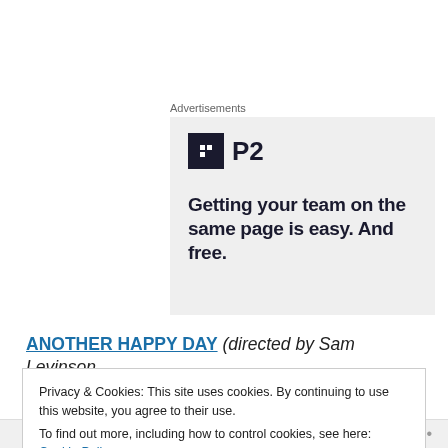Advertisements
[Figure (illustration): P2 advertisement banner with logo and tagline: Getting your team on the same page is easy. And free.]
ANOTHER HAPPY DAY (directed by Sam Levinson,
Privacy & Cookies: This site uses cookies. By continuing to use this website, you agree to their use. To find out more, including how to control cookies, see here: Cookie Policy
Close and accept
Follow ...